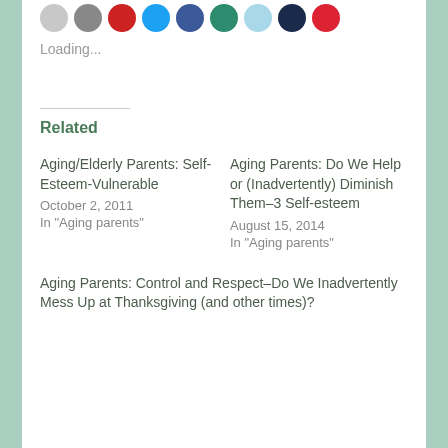[Figure (other): Row of social sharing icon circles in various colors: gray, dark gray, red, light blue, blue, teal, light blue, dark navy, red]
Loading...
Related
Aging/Elderly Parents: Self-Esteem-Vulnerable
October 2, 2011
In "Aging parents"
Aging Parents: Do We Help or (Inadvertently) Diminish Them–3 Self-esteem
August 15, 2014
In "Aging parents"
Aging Parents: Control and Respect–Do We Inadvertently Mess Up at Thanksgiving (and other times)?